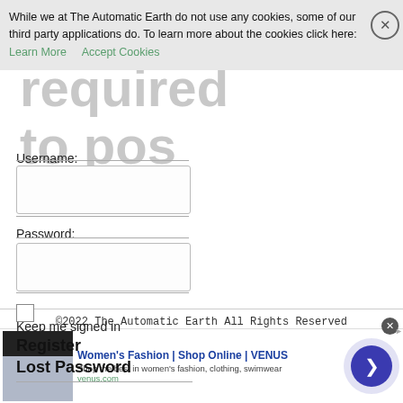While we at The Automatic Earth do not use any cookies, some of our third party applications do. To learn more about the cookies click here: Learn More   Accept Cookies
Login
required
to post
Username:
Password:
Keep me signed in
Register
Lost Password
©2022 The Automatic Earth All Rights Reserved
[Figure (screenshot): Ad banner: Women's Fashion | Shop Online | VENUS. Shop the best in women's fashion, clothing, swimwear. venus.com]